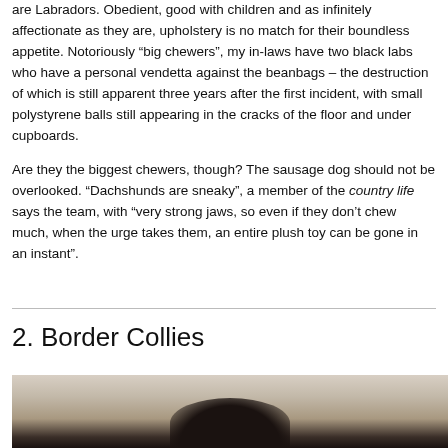are Labradors. Obedient, good with children and as infinitely affectionate as they are, upholstery is no match for their boundless appetite. Notoriously “big chewers”, my in-laws have two black labs who have a personal vendetta against the beanbags – the destruction of which is still apparent three years after the first incident, with small polystyrene balls still appearing in the cracks of the floor and under cupboards.
Are they the biggest chewers, though? The sausage dog should not be overlooked. “Dachshunds are sneaky”, a member of the country life says the team, with “very strong jaws, so even if they don’t chew much, when the urge takes them, an entire plush toy can be gone in an instant”.
2. Border Collies
[Figure (photo): Close-up photo of a dog (likely a Border Collie) with black and white fur, partially visible at the bottom of the page.]